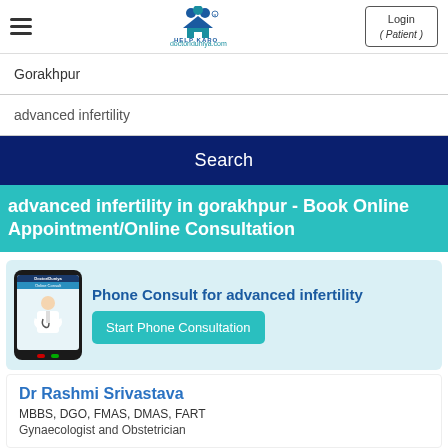[Figure (screenshot): DoctoriDuniya Help Karo logo with navigation hamburger menu and Login (Patient) button]
Gorakhpur
advanced infertility
Search
advanced infertility in gorakhpur - Book Online Appointment/Online Consultation
[Figure (illustration): Phone Consult for advanced infertility card with doctor image on phone screen and Start Phone Consultation button]
Dr Rashmi Srivastava
MBBS, DGO, FMAS, DMAS, FART
Gynaecologist and Obstetrician